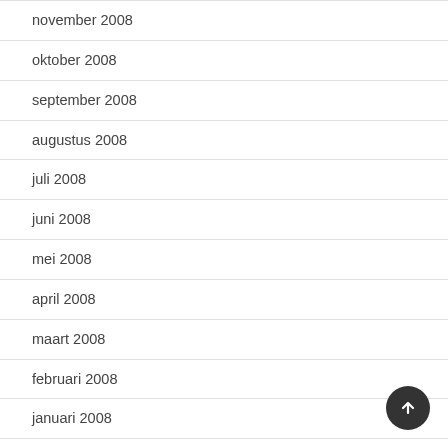november 2008
oktober 2008
september 2008
augustus 2008
juli 2008
juni 2008
mei 2008
april 2008
maart 2008
februari 2008
januari 2008
december 2007